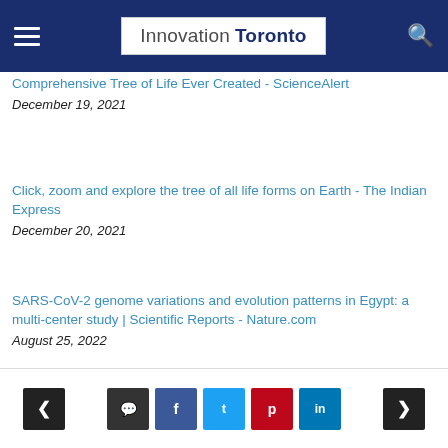Innovation Toronto
Comprehensive Tree of Life Ever Created - ScienceAlert
December 19, 2021
Click, zoom and explore the tree of all life forms on Earth - The Indian Express
December 20, 2021
SARS-CoV-2 genome variations and evolution patterns in Egypt: a multi-center study | Scientific Reports - Nature.com
August 25, 2022
< comment f t p in >